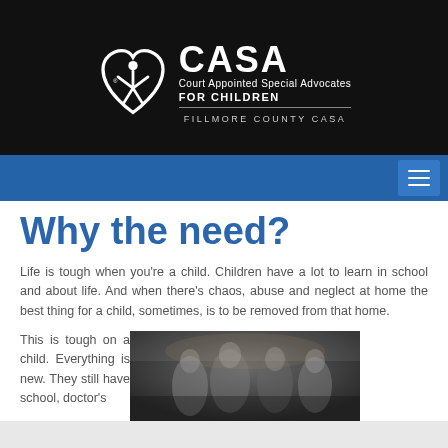[Figure (logo): CASA (Court Appointed Special Advocates for Children) logo — white heart with figure icon on black background, with 'FILLMORE COUNTY CASA' text below a divider line]
FILLMORE COUNTY CASA
Why the need?
Life is tough when you're a child. Children have a lot to learn in school and about life. And when there's chaos, abuse and neglect at home the best thing for a child, sometimes, is to be removed from that home.
This is tough on a child. Everything is new. They still have school, doctor's
[Figure (photo): Blurred background photo showing people in an indoor setting, partially visible at bottom right of page]